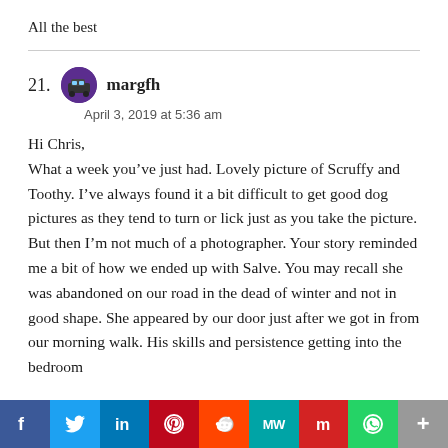All the best
21. margfh
April 3, 2019 at 5:36 am

Hi Chris,
What a week you've just had. Lovely picture of Scruffy and Toothy. I've always found it a bit difficult to get good dog pictures as they tend to turn or lick just as you take the picture. But then I'm not much of a photographer. Your story reminded me a bit of how we ended up with Salve. You may recall she was abandoned on our road in the dead of winter and not in good shape. She appeared by our door just after we got in from our morning walk. His skills and persistence getting into the bedroom
f  Twitter  in  Pinterest  Reddit  MW  Mix  WhatsApp  More